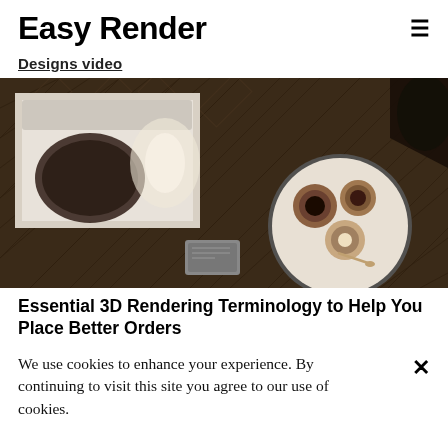Easy Render
Designs video
[Figure (photo): Overhead/top-down 3D render of a living room scene showing a white sofa with a dark cushion, a wooden parquet floor, a round tray/plate with cups and bowls, and what appears to be a magazine or remote, all shot from directly above.]
Essential 3D Rendering Terminology to Help You Place Better Orders
We use cookies to enhance your experience. By continuing to visit this site you agree to our use of cookies.